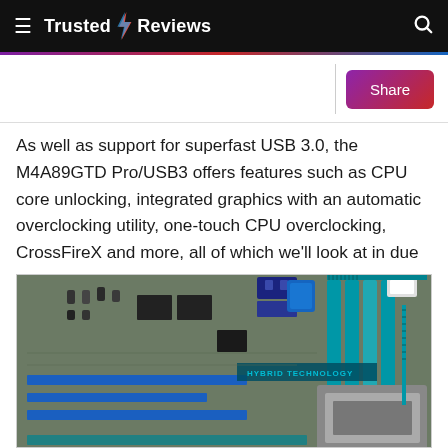Trusted Reviews
As well as support for superfast USB 3.0, the M4A89GTD Pro/USB3 offers features such as CPU core unlocking, integrated graphics with an automatic overclocking utility, one-touch CPU overclocking, CrossFireX and more, all of which we'll look at in due course.
[Figure (photo): Close-up photo of an ASUS M4A89GTD Pro/USB3 motherboard showing PCIe slots, RAM slots, capacitors, and the 'HYBRID TECHNOLOGY' label on the board.]